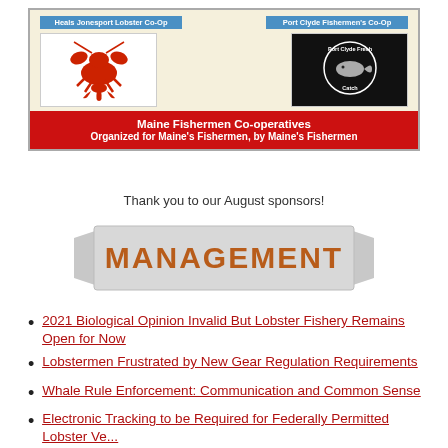[Figure (logo): Maine Fishermen Co-operatives sponsor banner with two logos: Heals Jonesport Lobster Co-Op (lobster image) on left, Port Clyde Fishermen's Co-Op (fish logo) on right, with red banner reading 'Maine Fishermen Co-operatives / Organized for Maine's Fishermen, by Maine's Fishermen']
Thank you to our August sponsors!
[Figure (illustration): Grey ribbon/banner graphic with bold orange-brown text reading 'MANAGEMENT']
2021 Biological Opinion Invalid But Lobster Fishery Remains Open for Now
Lobstermen Frustrated by New Gear Regulation Requirements
Whale Rule Enforcement: Communication and Common Sense
Electronic Tracking to be Required for Federally Permitted Lobster Vessels